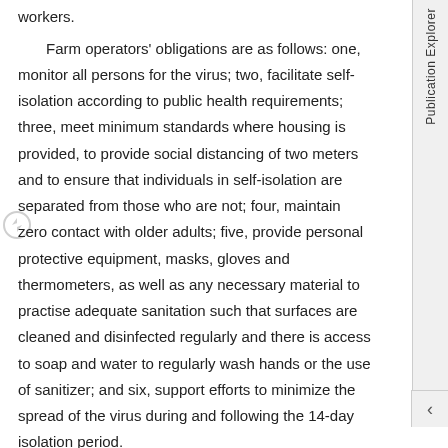workers.
Farm operators' obligations are as follows: one, monitor all persons for the virus; two, facilitate self-isolation according to public health requirements; three, meet minimum standards where housing is provided, to provide social distancing of two meters and to ensure that individuals in self-isolation are separated from those who are not; four, maintain zero contact with older adults; five, provide personal protective equipment, masks, gloves and thermometers, as well as any necessary material to practise adequate sanitation such that surfaces are cleaned and disinfected regularly and there is access to soap and water to regularly wash hands or the use of sanitizer; and six, support efforts to minimize the spread of the virus during and following the 14-day isolation period.